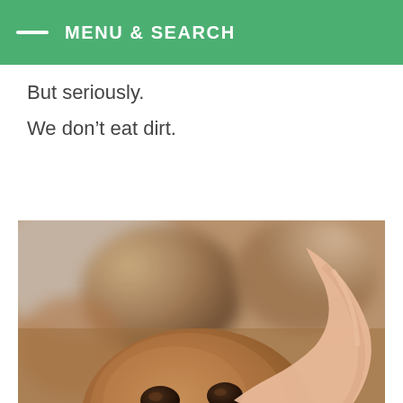MENU & SEARCH
But seriously.
We don’t eat dirt.
[Figure (photo): Close-up photo of a hand holding a round chocolate chip cookie ball with two chocolate chips pressed into it, with blurred similar cookie balls in the background.]